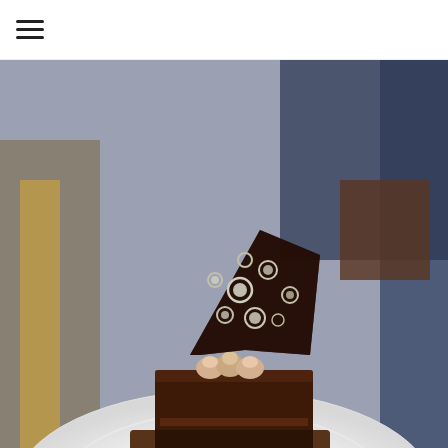≡ (hamburger menu icon)
[Figure (photo): A plated chocolate dessert on a white plate. A rectangular slice of layered chocolate cake topped with small cream dollops and a decorative dark chocolate shard with a white circle pattern. Sauce dots (orange, red) visible on the plate. Watermark text: MICHAEL FITZSIMMONS.COM]
For dessert, we were served with Assiette of alrhona Chocolate Desserts, nice slightly bitter
alrhona Chocolate Desserts, nice slightly bitter
Ashburn  OPEN  8AM–8PM
44110 Ashburn Shopping Plaza 1.